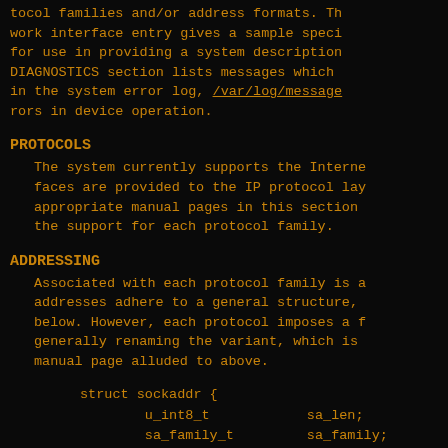tocol families and/or address formats. Th work interface entry gives a sample speci for use in providing a system description DIAGNOSTICS section lists messages which in the system error log, /var/log/message rors in device operation.
PROTOCOLS
The system currently supports the Interne faces are provided to the IP protocol lay appropriate manual pages in this section the support for each protocol family.
ADDRESSING
Associated with each protocol family is a addresses adhere to a general structure, below. However, each protocol imposes a f generally renaming the variant, which is manual page alluded to above.
struct sockaddr {
    u_int8_t        sa_len;
    sa_family_t     sa_family;
    char            sa_data[1]